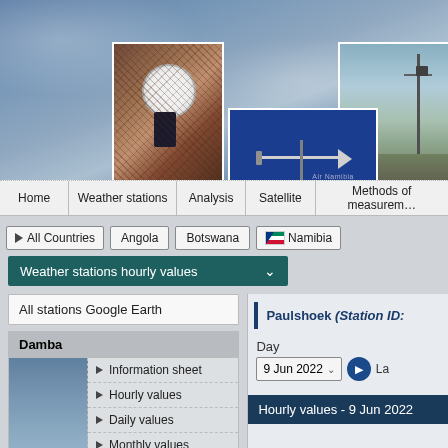[Figure (photo): Weather station website header banner with three photos of weather monitoring equipment against sky backgrounds]
Home | Weather stations | Analysis | Satellite | Methods of measurement
All Countries | Angola | Botswana | Namibia
Weather stations hourly values (dropdown)
All stations Google Earth
Damba
Information sheet
Hourly values
Daily values
Monthly values
Data sheet
Data availability:
28 Apr 2014 - 16 Apr 2015
Paulshoek (Station ID:
Day
9 Jun 2022
La
Hourly values - 9 Jun 2022